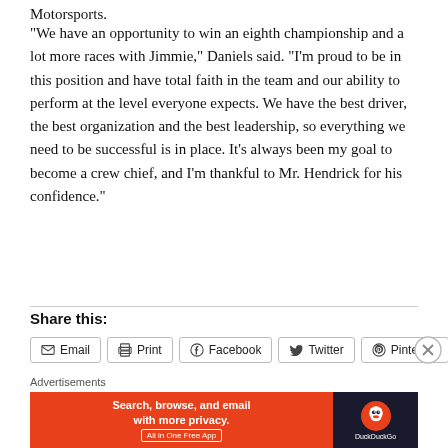Motorsports.
“We have an opportunity to win an eighth championship and a lot more races with Jimmie,” Daniels said. “I’m proud to be in this position and have total faith in the team and our ability to perform at the level everyone expects. We have the best driver, the best organization and the best leadership, so everything we need to be successful is in place. It’s always been my goal to become a crew chief, and I’m thankful to Mr. Hendrick for his confidence.”
Share this:
Email  Print  Facebook  Twitter  Pinterest
Advertisements
[Figure (screenshot): DuckDuckGo advertisement banner: 'Search, browse, and email with more privacy. All in One Free App' with DuckDuckGo logo on dark background.]